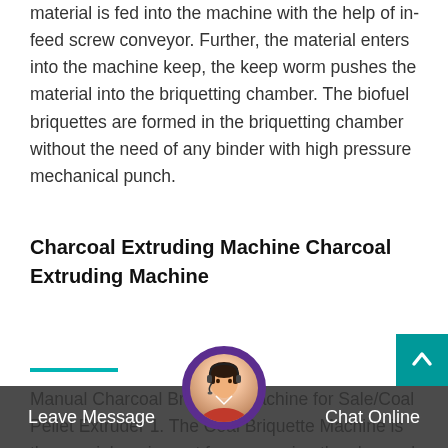material is fed into the machine with the help of in-feed screw conveyor. Further, the material enters into the machine keep, the keep worm pushes the material into the briquetting chamber. The biofuel briquettes are formed in the briquetting chamber without the need of any binder with high pressure mechanical punch.
Charcoal Extruding Machine Charcoal Extruding Machine
Manual Charcoal Briquette Machine for Sale/Coal Pellet Extruder 1. The Coal Briquette Machine is the special equipment for processing the charcoal powder or coal dust into different shape, different size of charcoal briquette with the different moulds. Professional Supplier for wood , briquette machine ,